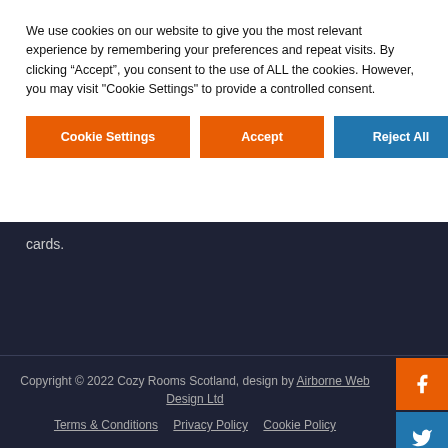We use cookies on our website to give you the most relevant experience by remembering your preferences and repeat visits. By clicking “Accept”, you consent to the use of ALL the cookies. However, you may visit "Cookie Settings" to provide a controlled consent.
Cookie Settings | Accept | Reject All
cards.
Copyright © 2022 Cozy Rooms Scotland, design by Airborne Web Design Ltd
Terms & Conditions   Privacy Policy   Cookie Policy